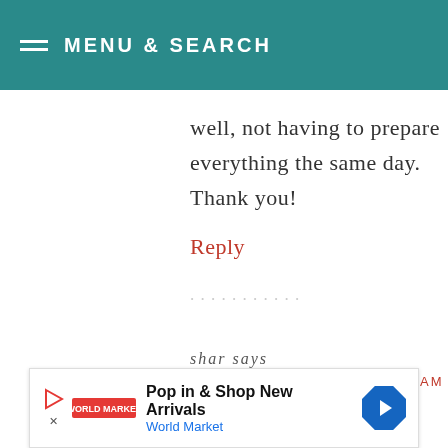MENU & SEARCH
well, not having to prepare everything the same day. Thank you!
Reply
shar says
DECEMBER 1, 2018 AT 11:57 AM
[Figure (other): Advertisement banner: Pop in & Shop New Arrivals – World Market]